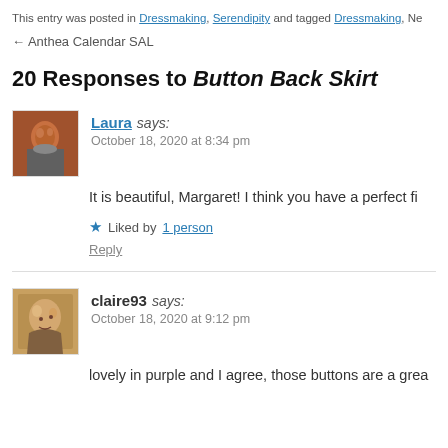This entry was posted in Dressmaking, Serendipity and tagged Dressmaking, Ne…
← Anthea Calendar SAL
20 Responses to Button Back Skirt
Laura says: October 18, 2020 at 8:34 pm
It is beautiful, Margaret! I think you have a perfect fi…
★ Liked by 1 person
Reply
claire93 says: October 18, 2020 at 9:12 pm
lovely in purple and I agree, those buttons are a grea…